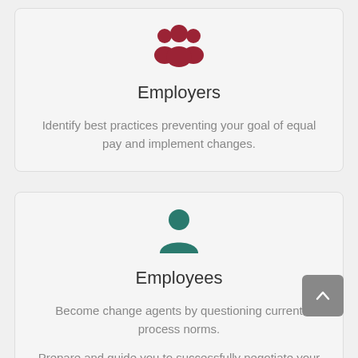[Figure (illustration): Dark red/maroon group of people icon (employers icon)]
Employers
Identify best practices preventing your goal of equal pay and implement changes.
[Figure (illustration): Teal single person icon (employees icon)]
Employees
Become change agents by questioning current process norms.
Prepare and guide you to successfully negotiate your